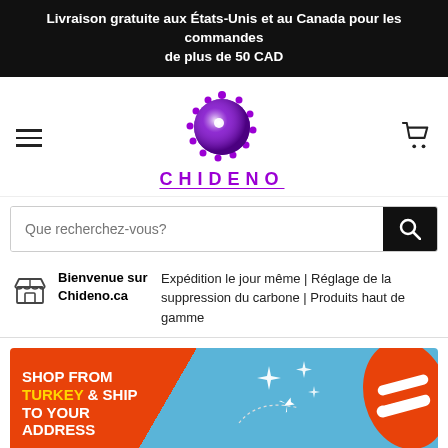Livraison gratuite aux États-Unis et au Canada pour les commandes de plus de 50 CAD
[Figure (logo): Chideno logo: purple circular mandala/galaxy graphic above the text CHIDENO in purple spaced letters with underline]
Que recherchez-vous?
Bienvenue sur Chideno.ca
Expédition le jour même | Réglage de la suppression du carbone | Produits haut de gamme
[Figure (infographic): Promotional banner: SHOP FROM TURKEY & SHIP TO YOUR ADDRESS on an orange and blue background with an airplane illustration and a red/white striped hat]